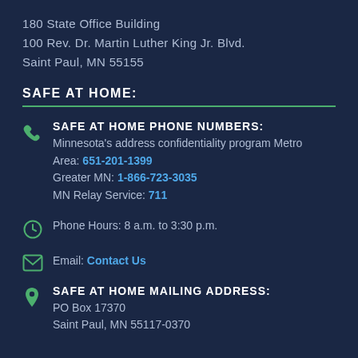180 State Office Building
100 Rev. Dr. Martin Luther King Jr. Blvd.
Saint Paul, MN 55155
SAFE AT HOME:
SAFE AT HOME PHONE NUMBERS:
Minnesota's address confidentiality program Metro Area: 651-201-1399
Greater MN: 1-866-723-3035
MN Relay Service: 711
Phone Hours: 8 a.m. to 3:30 p.m.
Email: Contact Us
SAFE AT HOME MAILING ADDRESS:
PO Box 17370
Saint Paul, MN 55117-0370